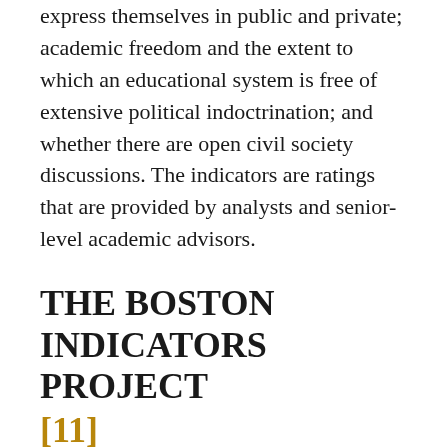express themselves in public and private; academic freedom and the extent to which an educational system is free of extensive political indoctrination; and whether there are open civil society discussions. The indicators are ratings that are provided by analysts and senior-level academic advisors.
THE BOSTON INDICATORS PROJECT [11]
This project reports on change in ten sectors: civic vitality, cultural life and the arts, the economy, education, the environment, health, housing, public safety, technology, and transportation. It aims to